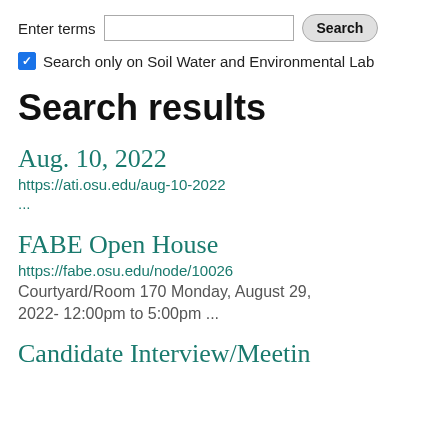Enter terms [search input] Search
Search only on Soil Water and Environmental Lab
Search results
Aug. 10, 2022
https://ati.osu.edu/aug-10-2022
...
FABE Open House
https://fabe.osu.edu/node/10026
Courtyard/Room 170 Monday, August 29, 2022- 12:00pm to 5:00pm ...
Candidate Interview/Meetin